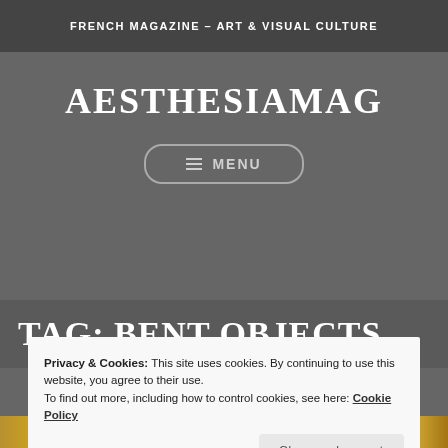FRENCH MAGAZINE – ART & VISUAL CULTURE
AESTHESIAMAG
≡ MENU
TAG: BENT OBJECTS
Privacy & Cookies: This site uses cookies. By continuing to use this website, you agree to their use.
To find out more, including how to control cookies, see here: Cookie Policy
Close and accept
[Figure (photo): Bottom strip showing partial image with golden/yellow tones, appearing to be a decorative or artistic image]